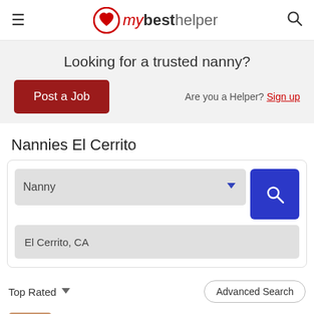mybesthelper — navigation header with hamburger menu and search icon
Looking for a trusted nanny?
Post a Job   Are you a Helper? Sign up
Nannies El Cerrito
Nanny [dropdown]  El Cerrito, CA [location input]
Top Rated ▼   Advanced Search